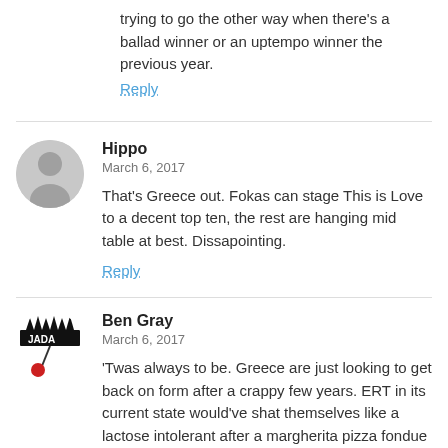trying to go the other way when there's a ballad winner or an uptempo winner the previous year.
Reply
Hippo
March 6, 2017
That's Greece out. Fokas can stage This is Love to a decent top ten, the rest are hanging mid table at best. Dissapointing.
Reply
Ben Gray
March 6, 2017
'Twas always to be. Greece are just looking to get back on form after a crappy few years. ERT in its current state would've shat themselves like a lactose intolerant after a margherita pizza fondue if they won.
Reply